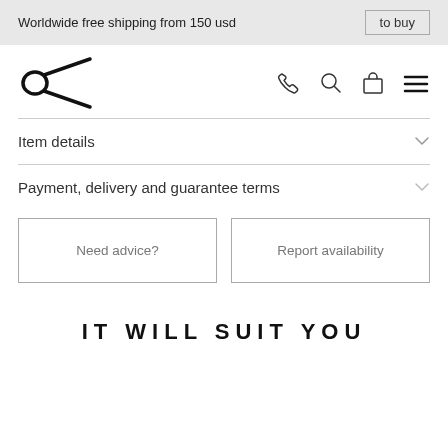Worldwide free shipping from 150 usd | to buy
[Figure (logo): Brand logo — stylized scissors/needle mark icon]
Item details
Payment, delivery and guarantee terms
Need advice?
Report availability
IT WILL SUIT YOU